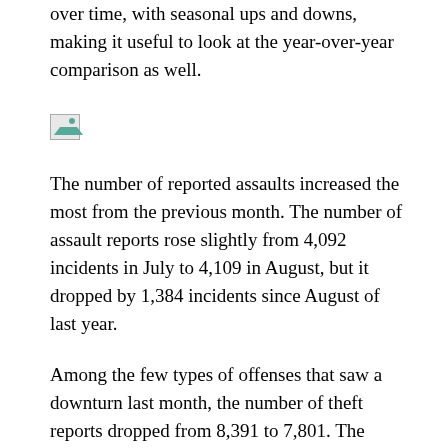over time, with seasonal ups and downs, making it useful to look at the year-over-year comparison as well.
[Figure (other): Broken/missing image placeholder icon]
The number of reported assaults increased the most from the previous month. The number of assault reports rose slightly from 4,092 incidents in July to 4,109 in August, but it dropped by 1,384 incidents since August of last year.
Among the few types of offenses that saw a downturn last month, the number of theft reports dropped from 8,391 to 7,801. The number of reported burglary incidents fell from 2,172 to 2,099, and reports of vandalism went down from 1,302 to 1,265. Theft and burglary